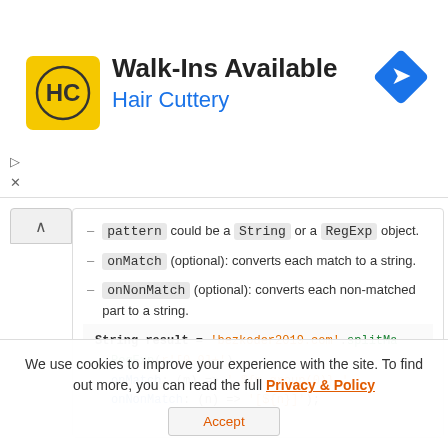[Figure (illustration): Hair Cuttery advertisement banner with yellow HC logo, 'Walk-Ins Available' title, 'Hair Cuttery' subtitle in blue, and a blue navigation diamond icon on the right]
pattern could be a String or a RegExp object.
onMatch (optional): converts each match to a string.
onNonMatch (optional): converts each non-matched part to a string.
String result = 'bezkoder2019.com'.splitMa RegExp(r'[0-9]+'), onMatch: (m) => '_${m.group(0)}_', onNonMatch: (n) => '[${n}]');
We use cookies to improve your experience with the site. To find out more, you can read the full Privacy & Policy
Accept